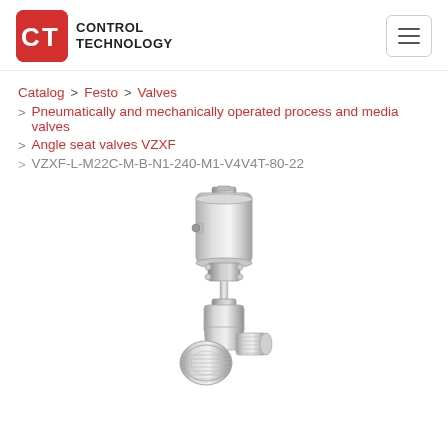[Figure (logo): CT Control Technology logo — red rounded square with white CT letters, followed by text CONTROL TECHNOLOGY]
Catalog > Festo > Valves
> Pneumatically and mechanically operated process and media valves
> Angle seat valves VZXF
> VZXF-L-M22C-M-B-N1-240-M1-V4V4T-80-22
[Figure (photo): Photograph of a stainless steel angle seat valve (VZXF series) with pneumatic actuator cylinder on top and threaded pipe fitting at bottom, shown on white background.]